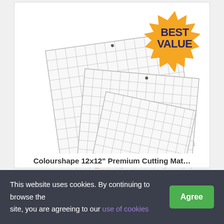[Figure (photo): Product photo showing three white grid cutting mats (ColourShape brand) fanned out, with a gold/yellow 'BEST VALUE' starburst badge overlaid in the upper right corner. Text on badge reads 'BEST VALUE' in dark navy/purple bold letters.]
Colourshape 12x12" Premium Cutting Mat...
This website uses cookies. By continuing to browse the site, you are agreeing to our use of cookies
Agree